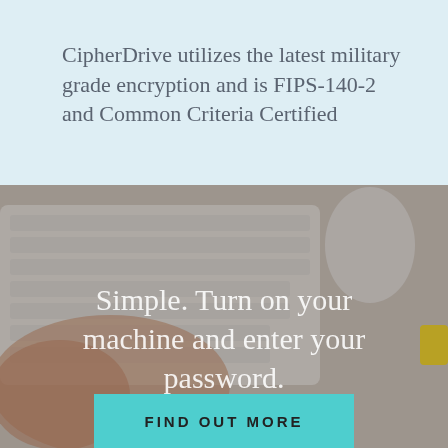CipherDrive utilizes the latest military grade encryption and is FIPS-140-2 and Common Criteria Certified
[Figure (photo): Photo of a person's hand typing on a white Apple keyboard on a light gray desk surface, with a white Apple mouse and a yellow object partially visible at the right edge.]
Simple. Turn on your machine and enter your password.
FIND OUT MORE